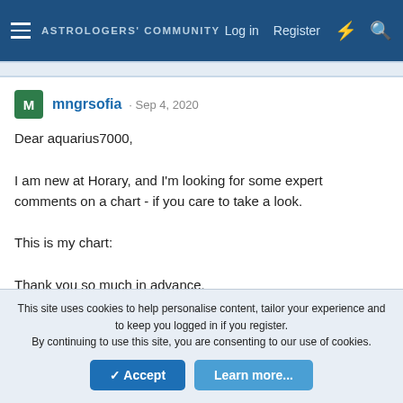ASTROLOGERS COMMUNITY  Log in  Register
mngrsofia · Sep 4, 2020
Dear aquarius7000,

I am new at Horary, and I'm looking for some expert comments on a chart - if you care to take a look.

This is my chart:

Thank you so much in advance,
Sofia
Amol209 · Jun 14, 2020
This site uses cookies to help personalise content, tailor your experience and to keep you logged in if you register.
By continuing to use this site, you are consenting to our use of cookies.